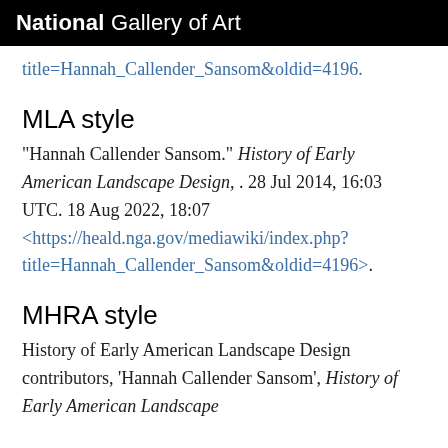National Gallery of Art
title=Hannah_Callender_Sansom&oldid=4196.
MLA style
"Hannah Callender Sansom." History of Early American Landscape Design, . 28 Jul 2014, 16:03 UTC. 18 Aug 2022, 18:07 <https://heald.nga.gov/mediawiki/index.php?title=Hannah_Callender_Sansom&oldid=4196>.
MHRA style
History of Early American Landscape Design contributors, 'Hannah Callender Sansom', History of Early American Landscape